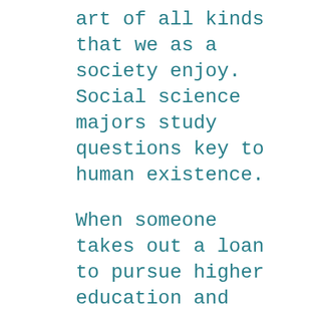art of all kinds that we as a society enjoy. Social science majors study questions key to human existence.
When someone takes out a loan to pursue higher education and their goals, we as a society are all beneficiaries. So, let’s start thinking about student loans on the societal level. This is the reason that a public education, including at the postsecondary level, should be provided without charging for tuition and fees. It is also the reason that debt cancellation should be afforded to all student loan borrowers.